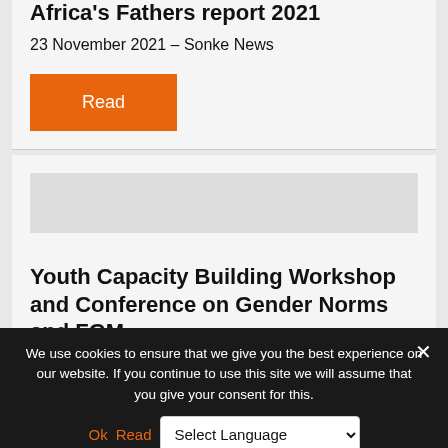Africa's Fathers report 2021
23 November 2021 – Sonke News
Read
Youth Capacity Building Workshop and Conference on Gender Norms and FGM
We use cookies to ensure that we give you the best experience on our website. If you continue to use this site we will assume that you give your consent for this.
Ok  Read  Select Language